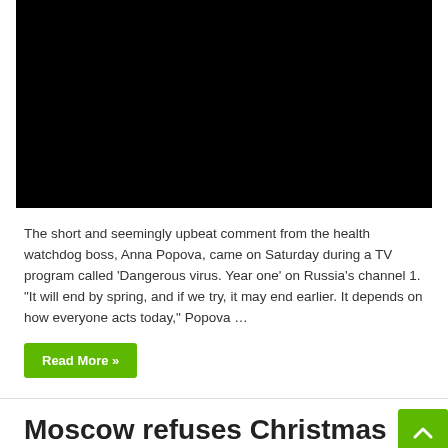[Figure (photo): Black rectangle, video thumbnail placeholder]
The short and seemingly upbeat comment from the health watchdog boss, Anna Popova, came on Saturday during a TV program called 'Dangerous virus. Year one' on Russia's channel 1. "It will end by spring, and if we try, it may end earlier. It depends on how everyone acts today," Popova …
Read More »
Moscow refuses Christmas Covid-19 lockdown: Festivities to